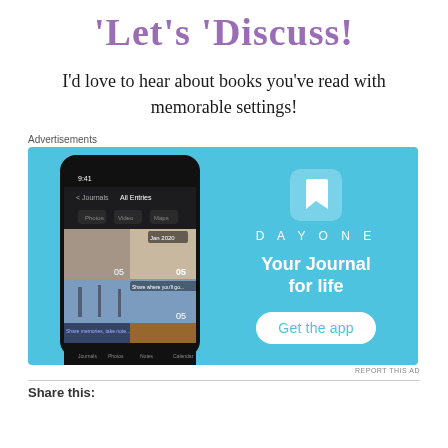'Let's Discuss!
I'd love to hear about books you've read with memorable settings!
Advertisements
[Figure (photo): DayOne journal app advertisement. Shows a smartphone with the DayOne app open displaying photo journal entries. Right side has a light blue background with the DayOne icon (bookmark), text 'DAY ONE', 'Your Journal for life', and a 'Get the app' button.]
REPORT THIS AD
Share this: